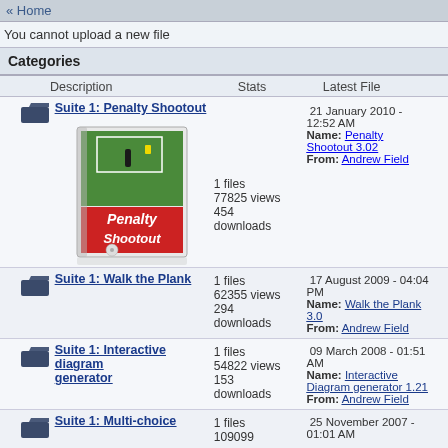« Home
You cannot upload a new file
Categories
| Description | Stats | Latest File |
| --- | --- | --- |
| Suite 1: Penalty Shootout | 1 files
77825 views
454 downloads | 21 January 2010 - 12:52 AM
Name: Penalty Shootout 3.02
From: Andrew Field |
| Suite 1: Walk the Plank | 1 files
62355 views
294 downloads | 17 August 2009 - 04:04 PM
Name: Walk the Plank 3.0
From: Andrew Field |
| Suite 1: Interactive diagram generator | 1 files
54822 views
153 downloads | 09 March 2008 - 01:51 AM
Name: Interactive Diagram generator 1.21
From: Andrew Field |
| Suite 1: Multi-choice | 1 files
109099 views | 25 November 2007 - 01:01 AM |